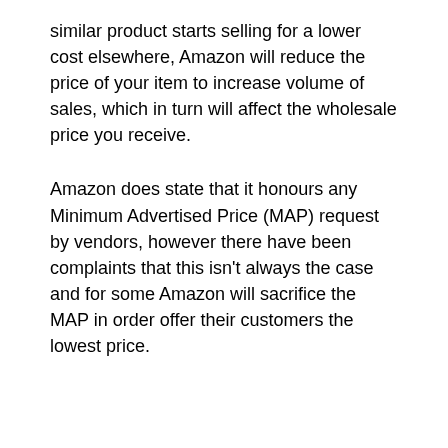similar product starts selling for a lower cost elsewhere, Amazon will reduce the price of your item to increase volume of sales, which in turn will affect the wholesale price you receive.
Amazon does state that it honours any Minimum Advertised Price (MAP) request by vendors, however there have been complaints that this isn't always the case and for some Amazon will sacrifice the MAP in order offer their customers the lowest price.